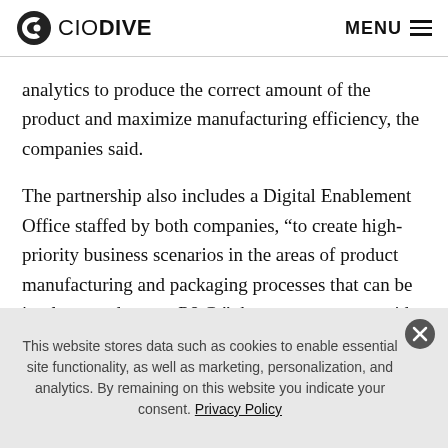CIO DIVE  MENU
analytics to produce the correct amount of the product and maximize manufacturing efficiency, the companies said.
The partnership also includes a Digital Enablement Office staffed by both companies, “to create high-priority business scenarios in the areas of product manufacturing and packaging processes that can be implemented across P&G,” the announcement said.
This website stores data such as cookies to enable essential site functionality, as well as marketing, personalization, and analytics. By remaining on this website you indicate your consent. Privacy Policy